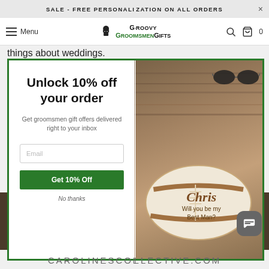SALE - FREE PERSONALIZATION ON ALL ORDERS
Menu | Groovy Groomsmen Gifts | Search | Cart 0
things about weddings.
[Figure (screenshot): Email subscription modal popup with green border. Left panel: 'Unlock 10% off your order' headline, subtitle 'Get groomsmen gift offers delivered right to your inbox', email input field, green 'Get 10% Off' button, 'No thanks' link. Right panel: photo of personalized football reading 'Chris Will you be my Best Man?' on wooden surface with sunglasses, cigar, whiskey bottle.]
CAROLINESCOLLECTIVE.COM